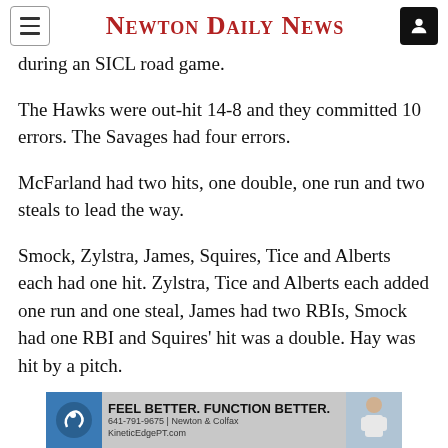Newton Daily News
during an SICL road game.
The Hawks were out-hit 14-8 and they committed 10 errors. The Savages had four errors.
McFarland had two hits, one double, one run and two steals to lead the way.
Smock, Zylstra, James, Squires, Tice and Alberts each had one hit. Zylstra, Tice and Alberts each added one run and one steal, James had two RBIs, Smock had one RBI and Squires' hit was a double. Hay was hit by a pitch.
[Figure (other): Advertisement banner: FEEL BETTER. FUNCTION BETTER. 641-791-9675 | Newton & Colfax, KineticEdgePT.com]